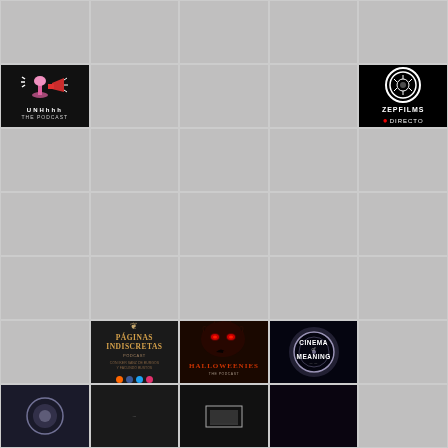[Figure (illustration): Grid of podcast artwork thumbnails. Row 1: 5 grey placeholder cells. Row 2: UNHhhh The Podcast logo (col 1), 3 grey cells (cols 2-4), ZepFilms Directo logo on dark background (col 5). Rows 3-5: all grey placeholder cells. Row 6: grey cell (col 1), Paginas Indiscretas Podcast logo (col 2), Halloweenies logo (col 3), Cinema of Meaning logo (col 4), grey cell (col 5). Row 7: partial row with pale circle logo (col 1), dark text thumbnail (col 2), bar/frame thumbnail (col 3), dark thumbnail (col 4), partial.]